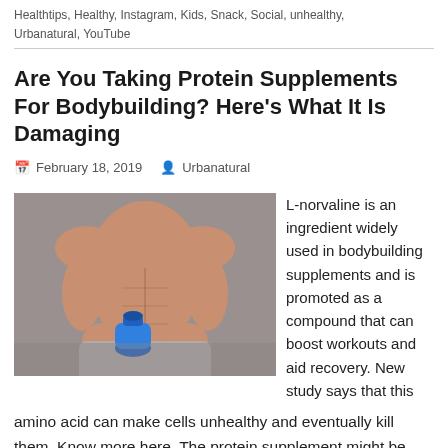Healthtips, Healthy, Instagram, Kids, Snack, Social, unhealthy, Urbanatural, YouTube
Are You Taking Protein Supplements For Bodybuilding? Here's What It Is Damaging
February 18, 2019   Urbanatural
[Figure (photo): Muscular shirtless man holding a blue water bottle, wearing grey sweatpants, against a grey background]
L-norvaline is an ingredient widely used in bodybuilding supplements and is promoted as a compound that can boost workouts and aid recovery. New study says that this amino acid can make cells unhealthy and eventually kill them. Know more here. The protein supplement might be harming your body more than you know. According to a recent study